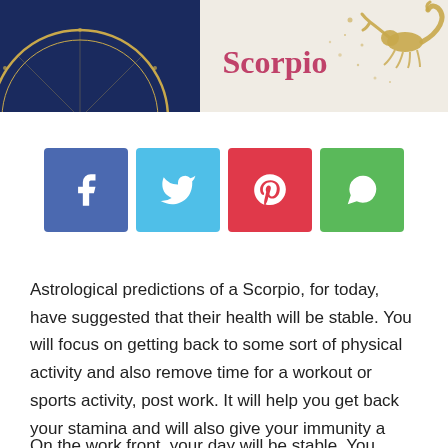[Figure (illustration): Header banner with dark blue zodiac wheel on left and beige background with 'Scorpio' text and scorpion illustration on right]
[Figure (infographic): Four social media share buttons: Facebook (blue), Twitter (cyan), Pinterest (red), WhatsApp (green)]
Astrological predictions of a Scorpio, for today, have suggested that their health will be stable. You will focus on getting back to some sort of physical activity and also remove time for a workout or sports activity, post work. It will help you get back your stamina and will also give your immunity a boost. Avoid skipping meals at night as that can give you stomach problems. Try to unwind before sleeping by listening to chants or calming music which will help you sleep better.
On the work front, your day will be stable. You might feel